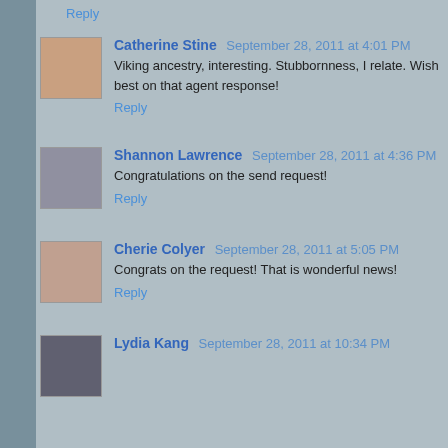Reply
Catherine Stine  September 28, 2011 at 4:01 PM
Viking ancestry, interesting. Stubbornness, I relate. Wish best on that agent response!
Reply
Shannon Lawrence  September 28, 2011 at 4:36 PM
Congratulations on the send request!
Reply
Cherie Colyer  September 28, 2011 at 5:05 PM
Congrats on the request! That is wonderful news!
Reply
Lydia Kang  September 28, 2011 at 10:34 PM